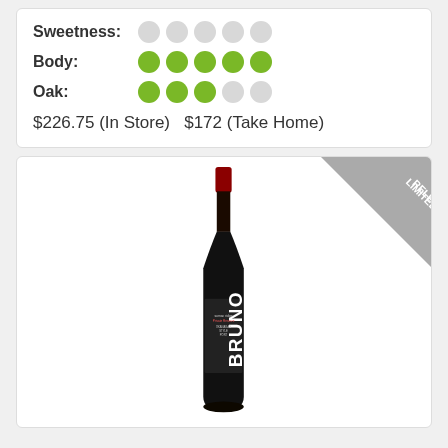Sweetness: (1 of 5 filled dots, empty)
Body: (5 of 5 filled dots)
Oak: (3 of 5 filled dots)
$226.75 (In Store)   $172 (Take Home)
[Figure (photo): Wine bottle labeled BRUNO, Sumac Ridge Private Reserve, Okanagan Style Port. Dark bottle with red cap. 'LIMITED RELEASE' banner in top right corner.]